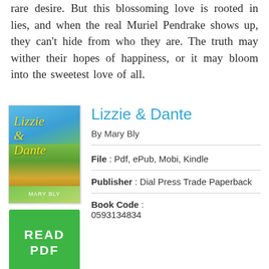rare desire. But this blossoming love is rooted in lies, and when the real Muriel Pendrake shows up, they can't hide from who they are. The truth may wither their hopes of happiness, or it may bloom into the sweetest love of all.
Lizzie & Dante
By Mary Bly
[Figure (illustration): Book cover of 'Lizzie & Dante' by Mary Bly with a green READ PDF button below it]
File : Pdf, ePub, Mobi, Kindle
Publisher : Dial Press Trade Paperback
Book Code : 0593134834